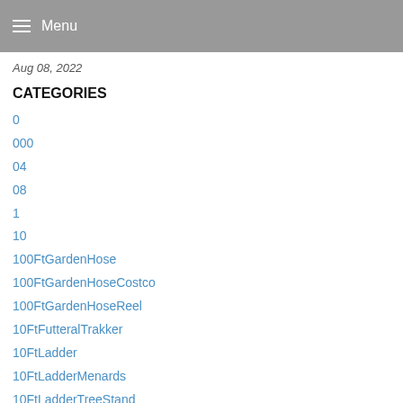Menu
Aug 08, 2022
CATEGORIES
0
000
04
08
1
10
100FtGardenHose
100FtGardenHoseCostco
100FtGardenHoseReel
10FtFutteralTrakker
10FtLadder
10FtLadderMenards
10FtLadderTreeStand
10Using
11